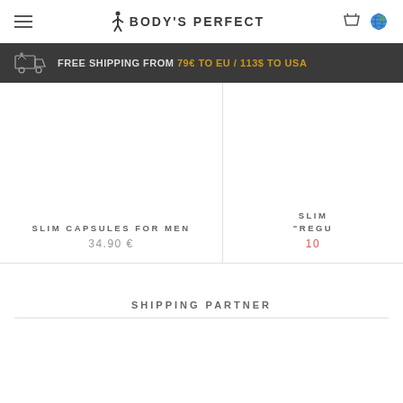BODY'S PERFECT
FREE SHIPPING FROM 79€ TO EU / 113$ TO USA
[Figure (photo): Product image area for Slim Capsules for Men]
SLIM CAPSULES FOR MEN
34.90 €
[Figure (photo): Partially visible product card with title SLIM and price starting with 10]
SLIM
"REGU
10
SHIPPING PARTNER